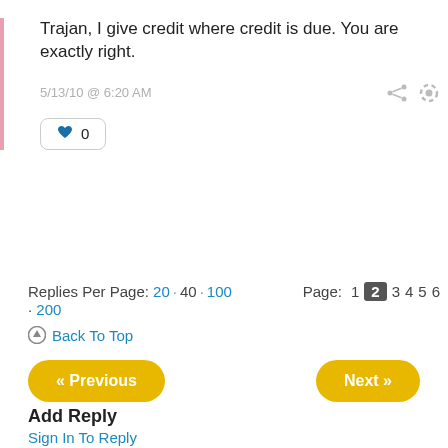Trajan, I give credit where credit is due. You are exactly right.
5/13/10 @ 6:20 AM
0
Replies Per Page: 20 · 40 · 100 · 200
Page: 1 2 3 4 5 6
Back To Top
« Previous
Next »
Add Reply
Sign In To Reply